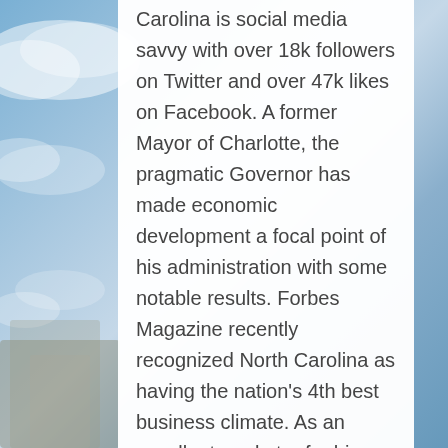Carolina is social media savvy with over 18k followers on Twitter and over 47k likes on Facebook. A former Mayor of Charlotte, the pragmatic Governor has made economic development a focal point of his administration with some notable results. Forbes Magazine recently recognized North Carolina as having the nation's 4th best business climate. As an excellent marketer for his state, he outpaces socially the head football coaches for both the University of North Carolina, Larry Fedora (Klout Score 62) and North Carolina State University, David Doreen (Klout Score